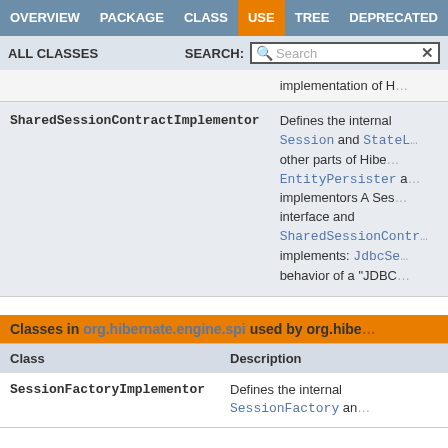OVERVIEW | PACKAGE | CLASS | USE | TREE | DEPRECATED
ALL CLASSES   SEARCH:
| Class | Description |
| --- | --- |
| SharedSessionContractImplementor | Defines the internal Session and StateL... other parts of Hibe... EntityPersister a... implementors A Ses... interface and SharedSessionContr... implements: JdbcSe... behavior of a "JDBC... |
Classes in org.hibernate.engine.spi used by org.hibe...
| Class | Description |
| --- | --- |
| SessionFactoryImplementor | Defines the internal SessionFactory an... |